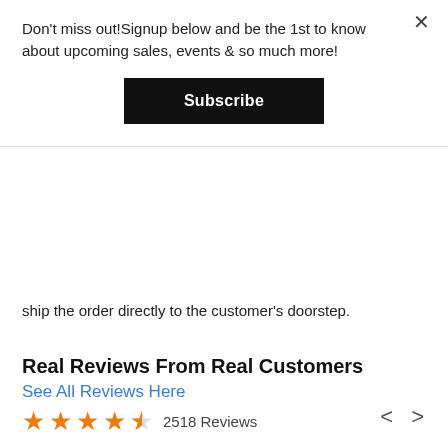Don't miss out!Signup below and be the 1st to know about upcoming sales, events & so much more!
Subscribe
ship the order directly to the customer's doorstep.
SUBARU
Highly acclaimed for cutting-edge design, technology, and safety features, Subaru continues to wow with their Ascent, BRZ, Crosstrek, Forester, Impreza, Legacy, Outback, and WRX models. Let us supply you with the replacement parts and accessories you need to maximize your Subaru experience!
Real Reviews From Real Customers
See All Reviews Here
2518 Reviews